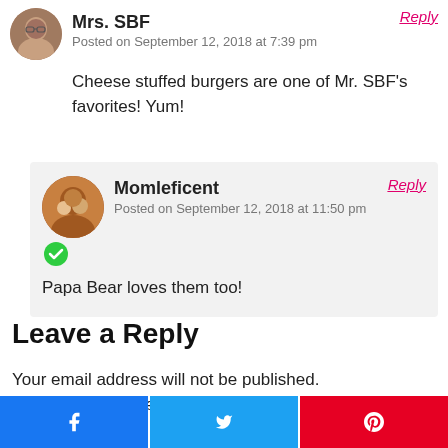Mrs. SBF
Posted on September 12, 2018 at 7:39 pm
Cheese stuffed burgers are one of Mr. SBF's favorites! Yum!
Reply
Momleficent
Posted on September 12, 2018 at 11:50 pm
Papa Bear loves them too!
Reply
Leave a Reply
Your email address will not be published. Required fields are marked *